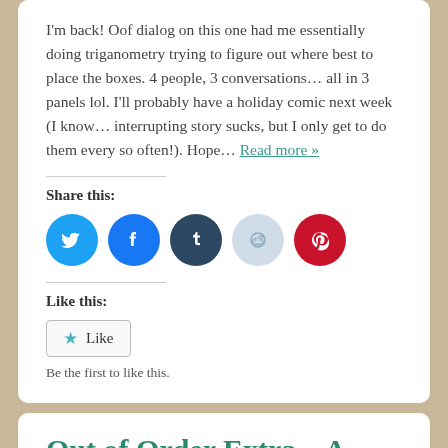I'm back! Oof dialog on this one had me essentially doing triganometry trying to figure out where best to place the boxes. 4 people, 3 conversations... all in 3 panels lol. I'll probably have a holiday comic next week (I know... interrupting story sucks, but I only get to do them every so often!). Hope... Read more »
Share this:
[Figure (infographic): Five social media share buttons as colored circles: Twitter (blue), Facebook (blue), Tumblr (dark blue), Reddit (light blue), Pinterest (red)]
Like this:
Like
Be the first to like this.
Out of Order Extra – A Day In the